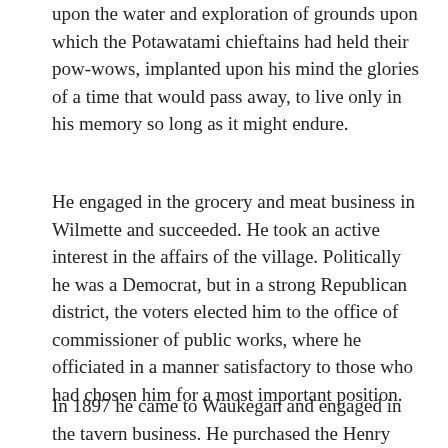upon the water and exploration of grounds upon which the Potawatami chieftains had held their pow-wows, implanted upon his mind the glories of a time that would pass away, to live only in his memory so long as it might endure.
He engaged in the grocery and meat business in Wilmette and succeeded. He took an active interest in the affairs of the village. Politically he was a Democrat, but in a strong Republican district, the voters elected him to the office of commissioner of public works, where he officiated in a manner satisfactory to those who had chosen him for a most important position.
In 1897 he came to Waukegan and engaged in the tavern business. He purchased the Henry Herman